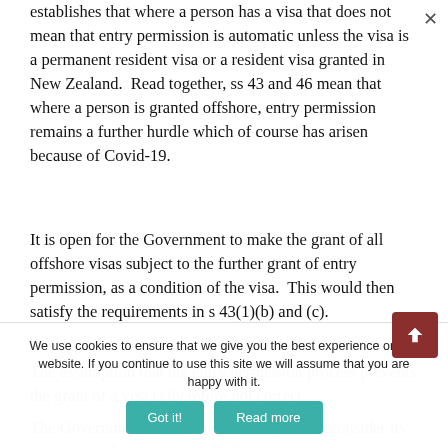establishes that where a person has a visa that does not mean that entry permission is automatic unless the visa is a permanent resident visa or a resident visa granted in New Zealand.  Read together, ss 43 and 46 mean that where a person is granted offshore, entry permission remains a further hurdle which of course has arisen because of Covid-19.
It is open for the Government to make the grant of all offshore visas subject to the further grant of entry permission, as a condition of the visa.  This would then satisfy the requirements in s 43(1)(b) and (c).
The assumption that the entry permission process prevents the grant of a visa is therefore not correct.
The Government should therefore urgently reconsider its position on the "suspension" of